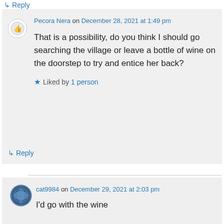↳ Reply
Pecora Nera on December 28, 2021 at 1:49 pm
That is a possibility, do you think I should go searching the village or leave a bottle of wine on the doorstep to try and entice her back?
★ Liked by 1 person
↳ Reply
cat9984 on December 29, 2021 at 2:03 pm
I'd go with the wine